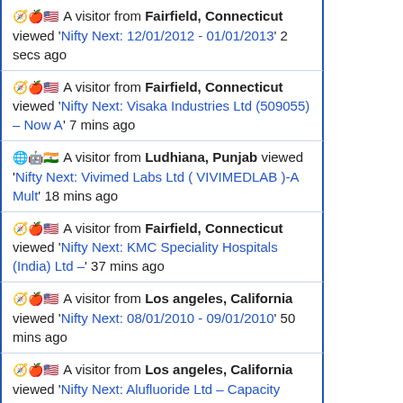🧭🍎🇺🇸 A visitor from Fairfield, Connecticut viewed 'Nifty Next: 12/01/2012 - 01/01/2013' 2 secs ago
🧭🍎🇺🇸 A visitor from Fairfield, Connecticut viewed 'Nifty Next: Visaka Industries Ltd (509055) – Now A' 7 mins ago
🌐🤖🇮🇳 A visitor from Ludhiana, Punjab viewed 'Nifty Next: Vivimed Labs Ltd ( VIVIMEDLAB )-A Mult' 18 mins ago
🧭🍎🇺🇸 A visitor from Fairfield, Connecticut viewed 'Nifty Next: KMC Speciality Hospitals (India) Ltd –' 37 mins ago
🧭🍎🇺🇸 A visitor from Los angeles, California viewed 'Nifty Next: 08/01/2010 - 09/01/2010' 50 mins ago
🧭🍎🇺🇸 A visitor from Los angeles, California viewed 'Nifty Next: Alufluoride Ltd – Capacity Expansion' 56 mins ago
🧭🍎🇺🇸 A visitor from United states viewed 'Nifty Next: 2021' 57 mins ago
🧭🍎🇺🇸 A visitor from Los angeles, California viewed 'Nifty Next: 07/01/2017 - 08/01/2017' 1 hr ago
🧭🍎🇺🇸 A visitor from Los angeles, California viewed 'Nifty Next: Likhitha Infrastructure Ltd. IPO & Its'